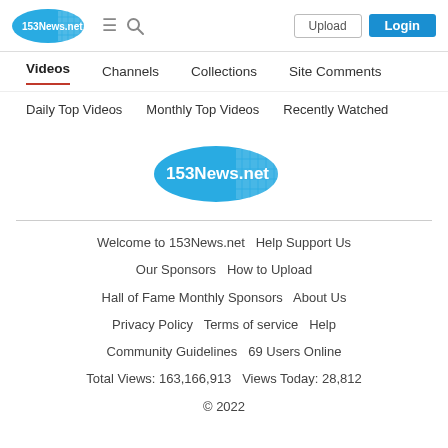[Figure (logo): 153News.net logo - blue oval with text and grid pattern, top-left header]
Upload | Login
Videos | Channels | Collections | Site Comments
Daily Top Videos | Monthly Top Videos | Recently Watched
[Figure (logo): 153News.net logo - blue oval with text and grid pattern, centered]
Welcome to 153News.net  Help Support Us  Our Sponsors  How to Upload  Hall of Fame Monthly Sponsors  About Us  Privacy Policy  Terms of service  Help  Community Guidelines  69 Users Online  Total Views: 163,166,913  Views Today: 28,812  © 2022